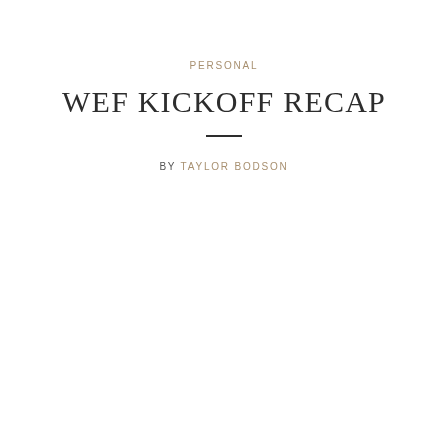PERSONAL
WEF KICKOFF RECAP
BY TAYLOR BODSON